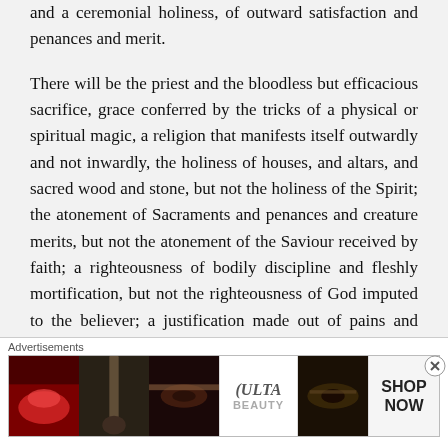and a ceremonial holiness, of outward satisfaction and penances and merit.
There will be the priest and the bloodless but efficacious sacrifice, grace conferred by the tricks of a physical or spiritual magic, a religion that manifests itself outwardly and not inwardly, the holiness of houses, and altars, and sacred wood and stone, but not the holiness of the Spirit; the atonement of Sacraments and penances and creature merits, but not the atonement of the Saviour received by faith; a righteousness of bodily discipline and fleshly mortification, but not the righteousness of God imputed to the believer; a justification made out of pains and merits, of sufferings and works, but not a
[Figure (other): Ulta Beauty advertisement banner showing beauty/makeup images with SHOP NOW call to action]